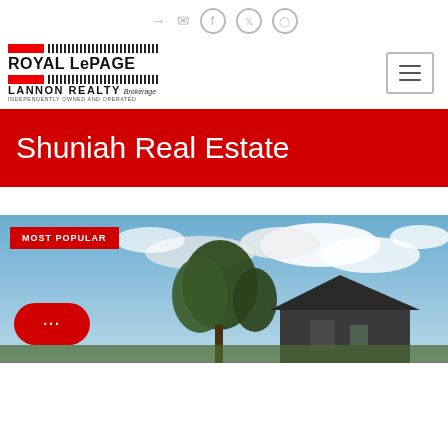[Figure (logo): Royal LePage Lannon Realty Brokerage logo with red rectangles and barcode pattern, plus navigation icons (sign-in, mail, Facebook, Twitter, Instagram) and hamburger menu]
Shuniah Real Estate
[Figure (photo): Aerial/street view photo of a residential home with trees, blue sky with clouds, and a 'MOST POPULAR' red badge overlay. A red chat bubble button is in the bottom-left corner.]